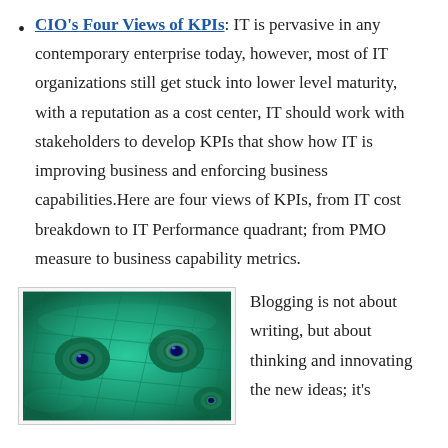CIO's Four Views of KPIs: IT is pervasive in any contemporary enterprise today, however, most of IT organizations still get stuck into lower level maturity, with a reputation as a cost center, IT should work with stakeholders to develop KPIs that show how IT is improving business and enforcing business capabilities.Here are four views of KPIs, from IT cost breakdown to IT Performance quadrant; from PMO measure to business capability metrics.
[Figure (photo): Close-up photograph of peacock feathers showing iridescent blue and green eye patterns]
Blogging is not about writing, but about thinking and innovating the new ideas; it's